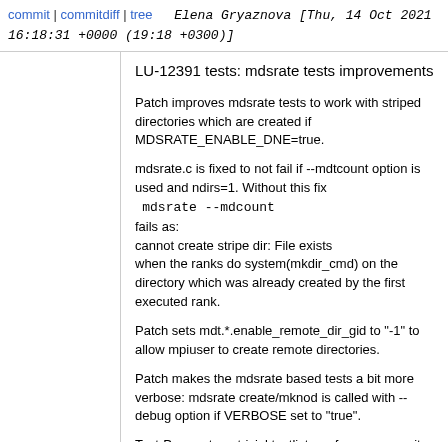commit | commitdiff | tree   Elena Gryaznova [Thu, 14 Oct 2021 16:18:31 +0000 (19:18 +0300)]
LU-12391 tests: mdsrate tests improvements
Patch improves mdsrate tests to work with striped directories which are created if MDSRATE_ENABLE_DNE=true.
mdsrate.c is fixed to not fail if --mdtcount option is used and ndirs=1. Without this fix
  mdsrate --mdcount
fails as:
cannot create stripe dir: File exists
when the ranks do system(mkdir_cmd) on the directory which was already created by the first executed rank.
Patch sets mdt.*.enable_remote_dir_gid to "-1" to allow mpiuser to create remote directories.
Patch makes the mdsrate based tests a bit more verbose: mdsrate create/mknod is called with --debug option if VERBOSE set to "true".
Test-Parameters: trivial testlist=performance-sanity
Fixes: f31c60c97328 ("LU-1187 tests: Add mntfmt/mntcount/mdtcount to mds
Signed-off-by: Elena Gryaznova